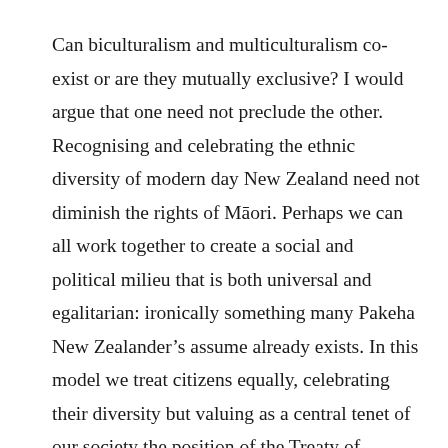Can biculturalism and multiculturalism co-exist or are they mutually exclusive? I would argue that one need not preclude the other. Recognising and celebrating the ethnic diversity of modern day New Zealand need not diminish the rights of Māori. Perhaps we can all work together to create a social and political milieu that is both universal and egalitarian: ironically something many Pakeha New Zealander's assume already exists. In this model we treat citizens equally, celebrating their diversity but valuing as a central tenet of our society the position of the Treaty of Waitangi and its guiding principles. This ensures a unique position for Māori to be recognised as the guardians of this special land. By doing this we create a dynamic and vibrant society leaving behind a past based on fear (for loss of